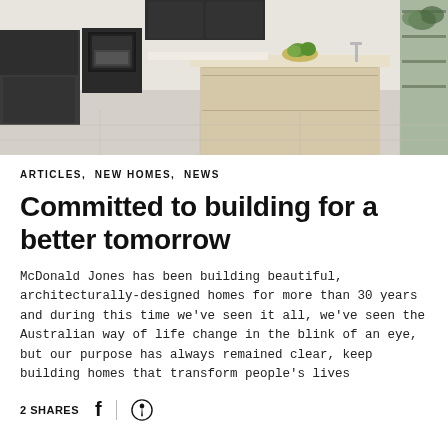[Figure (photo): Modern kitchen interior with dark cabinetry, light wood island bench, white countertops, and a built-in oven. Plants visible in background.]
ARTICLES,  NEW HOMES,  NEWS
Committed to building for a better tomorrow
McDonald Jones has been building beautiful, architecturally-designed homes for more than 30 years and during this time we've seen it all, we've seen the Australian way of life change in the blink of an eye, but our purpose has always remained clear, keep building homes that transform people's lives
2 SHARES